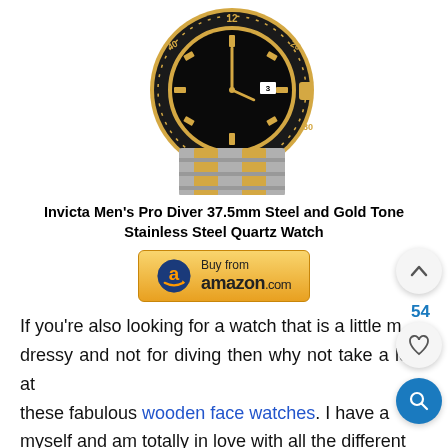[Figure (photo): Invicta Men's Pro Diver watch with black dial, gold and steel two-tone bracelet, partial view showing top portion of watch]
Invicta Men's Pro Diver 37.5mm Steel and Gold Tone Stainless Steel Quartz Watch
[Figure (other): Buy from amazon.com button with Amazon arrow logo]
If you're also looking for a watch that is a little more dressy and not for diving then why not take a look at these fabulous wooden face watches. I have a few myself and am totally in love with all the different colors and designs.